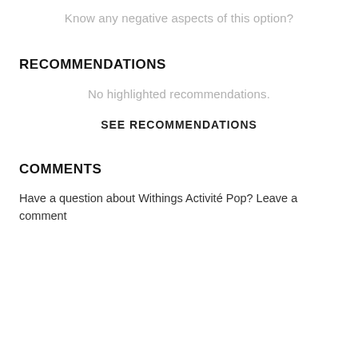Know any negative aspects of this option?
RECOMMENDATIONS
No highlighted recommendations.
SEE RECOMMENDATIONS
COMMENTS
Have a question about Withings Activité Pop? Leave a comment